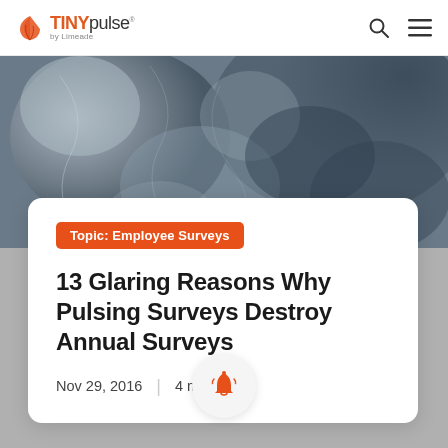TINYpulse by Limeade
[Figure (photo): Close-up of foggy/icy glass texture in blue-grey tones]
Topic: Employee Surveys
13 Glaring Reasons Why Pulsing Surveys Destroy Annual Surveys
Nov 29, 2016  |  4 min read
[Figure (illustration): Orange bell notification icon inside a circular white button]